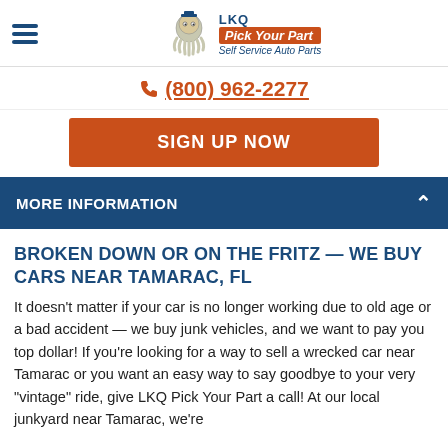LKQ Pick Your Part — Self Service Auto Parts
(800) 962-2277
SIGN UP NOW
MORE INFORMATION
BROKEN DOWN OR ON THE FRITZ — WE BUY CARS NEAR TAMARAC, FL
It doesn't matter if your car is no longer working due to old age or a bad accident — we buy junk vehicles, and we want to pay you top dollar! If you're looking for a way to sell a wrecked car near Tamarac or you want an easy way to say goodbye to your very "vintage" ride, give LKQ Pick Your Part a call! At our local junkyard near Tamarac, we're